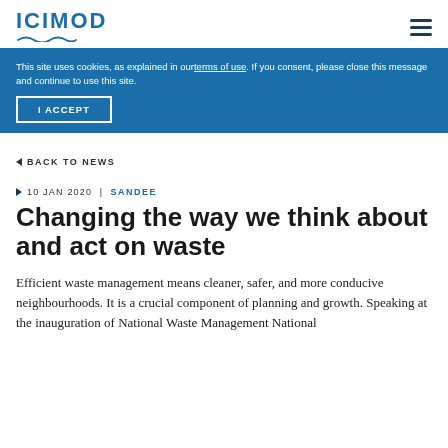ICIMOD
This site uses cookies, as explained in our terms of use. If you consent, please close this message and continue to use this site.
I ACCEPT
◄ BACK TO NEWS
► 10 JAN 2020 | SANDEE
Changing the way we think about and act on waste
Efficient waste management means cleaner, safer, and more conducive neighbourhoods. It is a crucial component of planning and growth. Speaking at the inauguration of National Waste Management National